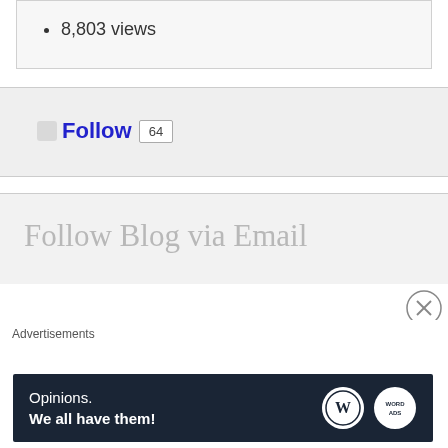8,803 views
[Figure (other): Follow button widget with count badge showing 64]
Follow Blog via Email
Advertisements
[Figure (other): WordPress advertisement banner: Opinions. We all have them! with WordPress and WordAds logos]